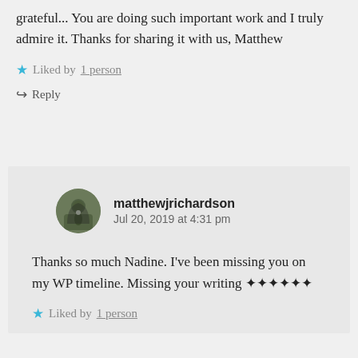grateful... You are doing such important work and I truly admire it. Thanks for sharing it with us, Matthew
★ Liked by 1 person
↪ Reply
matthewjrichardson
Jul 20, 2019 at 4:31 pm
Thanks so much Nadine. I've been missing you on my WP timeline. Missing your writing ✦✦✦✦✦✦
★ Liked by 1 person